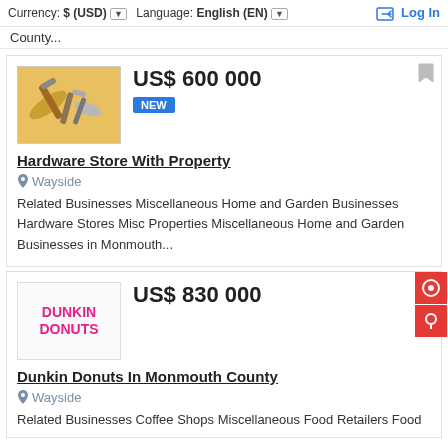Currency: $ (USD) Language: English (EN) Log In
County...
[Figure (photo): Thumbnail image of hardware tools (hammers, pliers, screwdrivers) on a wooden surface]
US$ 600 000 NEW
Hardware Store With Property
Wayside
Related Businesses Miscellaneous Home and Garden Businesses Hardware Stores Misc Properties Miscellaneous Home and Garden Businesses in Monmouth...
[Figure (logo): Dunkin Donuts logo in pink/magenta text]
US$ 830 000
Dunkin Donuts In Monmouth County
Wayside
Related Businesses Coffee Shops Miscellaneous Food Retailers Food